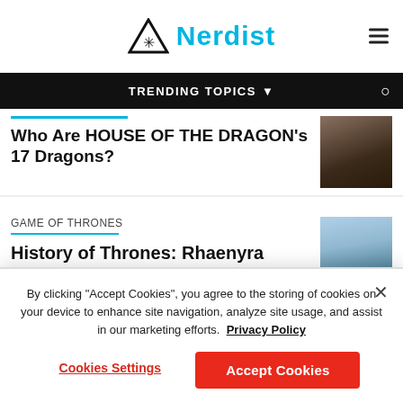Nerdist
TRENDING TOPICS
Who Are HOUSE OF THE DRAGON's 17 Dragons?
[Figure (photo): Dark cave or dragon image]
GAME OF THRONES
History of Thrones: Rhaenyra Targaryen,
[Figure (photo): Woman with white hair looking stern against blue sky]
By clicking "Accept Cookies", you agree to the storing of cookies on your device to enhance site navigation, analyze site usage, and assist in our marketing efforts.  Privacy Policy
Cookies Settings
Accept Cookies